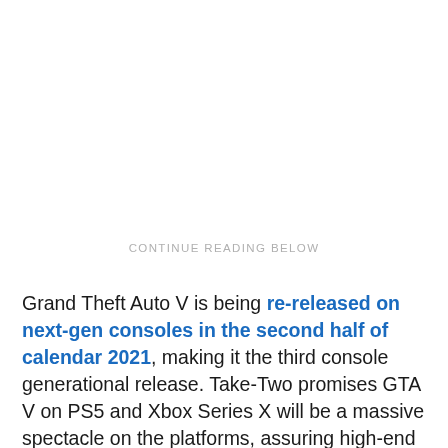CONTINUE READING BELOW
Grand Theft Auto V is being re-released on next-gen consoles in the second half of calendar 2021, making it the third console generational release. Take-Two promises GTA V on PS5 and Xbox Series X will be a massive spectacle on the platforms, assuring high-end graphics and performance. In the call, company President Karl Slatoff said GTA V will "take full advantage of next-gen hardware" to become more "beautiful and